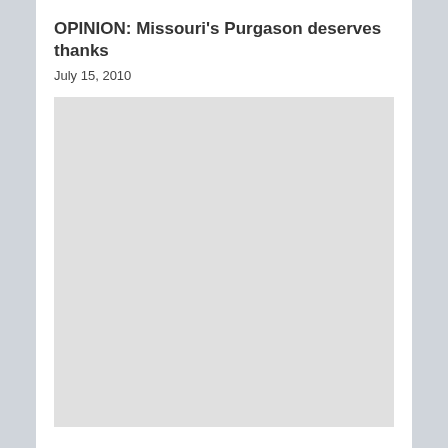OPINION: Missouri's Purgason deserves thanks
July 15, 2010
[Figure (photo): Large light gray placeholder image block]